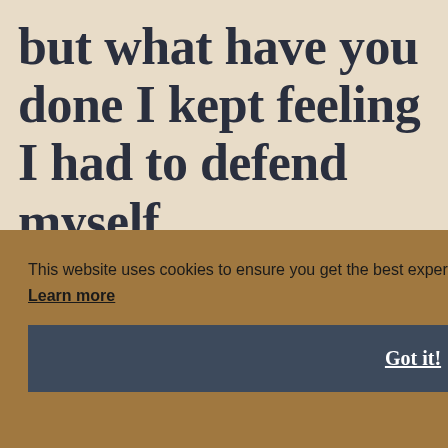but what have you done I kept feeling I had to defend myself.
This website uses cookies to ensure you get the best experience on our website. Learn more
Got it!